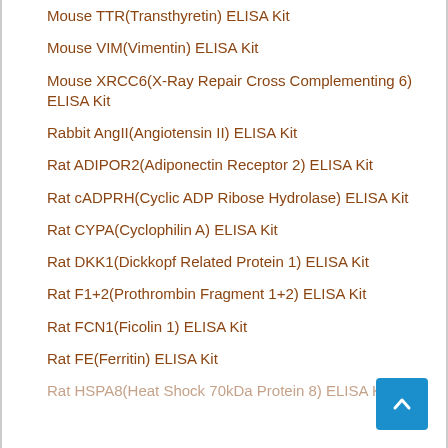Mouse TTR(Transthyretin) ELISA Kit
Mouse VIM(Vimentin) ELISA Kit
Mouse XRCC6(X-Ray Repair Cross Complementing 6) ELISA Kit
Rabbit AngII(Angiotensin II) ELISA Kit
Rat ADIPOR2(Adiponectin Receptor 2) ELISA Kit
Rat cADPRH(Cyclic ADP Ribose Hydrolase) ELISA Kit
Rat CYPA(Cyclophilin A) ELISA Kit
Rat DKK1(Dickkopf Related Protein 1) ELISA Kit
Rat F1+2(Prothrombin Fragment 1+2) ELISA Kit
Rat FCN1(Ficolin 1) ELISA Kit
Rat FE(Ferritin) ELISA Kit
Rat HSPA8(Heat Shock 70kDa Protein 8) ELISA Kit